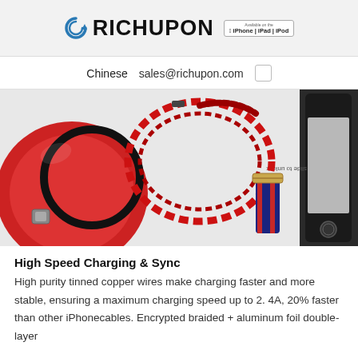RICHUPON | iPhone | iPad | iPod
Chinese  sales@richupon.com
[Figure (photo): Product photo showing red braided charging cables coiled and arranged on a white surface, with a navy/red striped watch band and an iPhone partially visible on the right edge.]
High Speed Charging & Sync
High purity tinned copper wires make charging faster and more stable, ensuring a maximum charging speed up to 2. 4A, 20% faster than other iPhonecables. Encrypted braided + aluminum foil double-layer